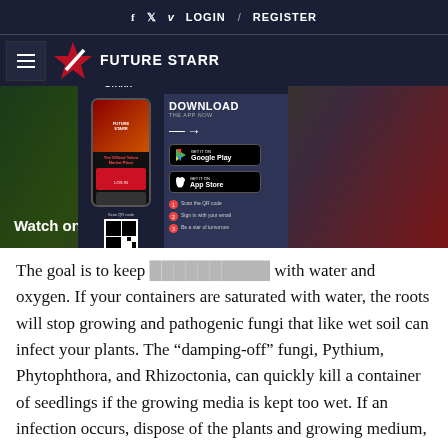f  Twitter  v  LOGIN  /  REGISTER
[Figure (logo): FutureStarr website header with hamburger menu and logo]
[Figure (screenshot): Video thumbnail with 'Watch on' label and FutureStarr app download popup overlay showing Google Play and App Store buttons, QR code, and steps]
The goal is to keep [text obscured by popup] with water and oxygen. If your containers are saturated with water, the roots will stop growing and pathogenic fungi that like wet soil can infect your plants. The “damping-off” fungi, Pythium, Phytophthora, and Rhizoctonia, can quickly kill a container of seedlings if the growing media is kept too wet. If an infection occurs, dispose of the plants and growing medium, wash containers and tools to remove any debris, and soak them for